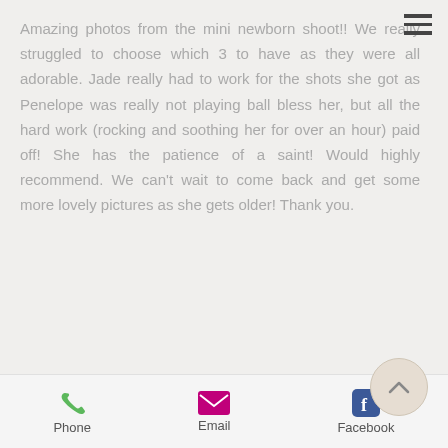Amazing photos from the mini newborn shoot!! We really struggled to choose which 3 to have as they were all adorable. Jade really had to work for the shots she got as Penelope was really not playing ball bless her, but all the hard work (rocking and soothing her for over an hour) paid off! She has the patience of a saint! Would highly recommend. We can't wait to come back and get some more lovely pictures as she gets older! Thank you.
Sarah Wilkinson
Phone   Email   Facebook